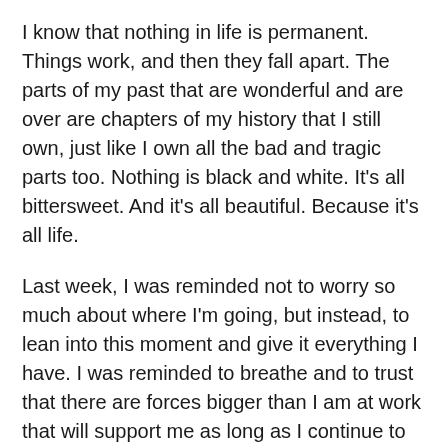I know that nothing in life is permanent. Things work, and then they fall apart. The parts of my past that are wonderful and are over are chapters of my history that I still own, just like I own all the bad and tragic parts too. Nothing is black and white. It’s all bittersweet. And it’s all beautiful. Because it’s all life.
Last week, I was reminded not to worry so much about where I’m going, but instead, to lean into this moment and give it everything I have. I was reminded to breathe and to trust that there are forces bigger than I am at work that will support me as long as I continue to believe in myself. And I was reminded that though rain is an inevitable part of life, the sun always pushes through the gloom eventually, making everything lovely again.
Until next time, friends...